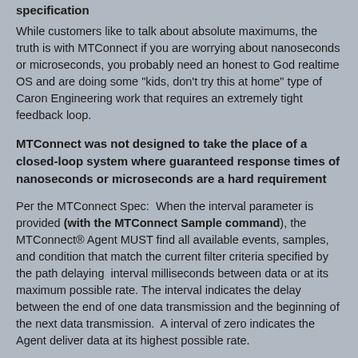specification
While customers like to talk about absolute maximums, the truth is with MTConnect if you are worrying about nanoseconds or microseconds, you probably need an honest to God realtime OS and are doing some "kids, don't try this at home" type of Caron Engineering work that requires an extremely tight feedback loop.
MTConnect was not designed to take the place of a closed-loop system where guaranteed response times of nanoseconds or microseconds are a hard requirement
Per the MTConnect Spec:  When the interval parameter is provided (with the MTConnect Sample command), the MTConnect® Agent MUST find all available events, samples, and condition that match the current filter criteria specified by the path delaying  interval milliseconds between data or at its maximum possible rate. The interval indicates the delay between the end of one data transmission and the beginning of the next data transmission.  A interval of zero indicates the Agent deliver data at its highest possible rate.
Below is from Part 1 of the MTConnect 1.3 Specification:
Dates and times will follow the W3C ISO 8601 format with arbitrary decimal fractions of a second allowed. Refer to the following specification for details: http://www.w3.org/TR/NOTE-datetimeThe format will be YYYY-MM- DDThh:mm:ss.ffff, for example 2007-09-13T13:01.213415. The